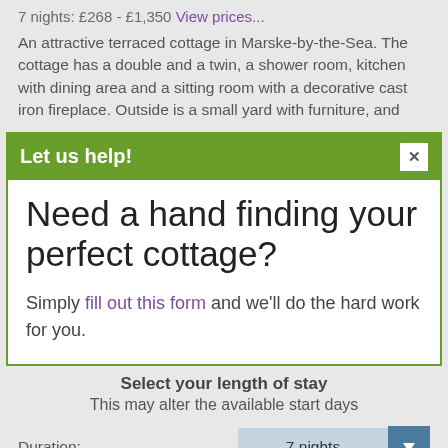7 nights: £268 - £1,350 View prices...
An attractive terraced cottage in Marske-by-the-Sea. The cottage has a double and a twin, a shower room, kitchen with dining area and a sitting room with a decorative cast iron fireplace. Outside is a small yard with furniture, and
Let us help!
Need a hand finding your perfect cottage?
Simply fill out this form and we'll do the hard work for you.
Select your length of stay
This may alter the available start days
Duration: 7 nights